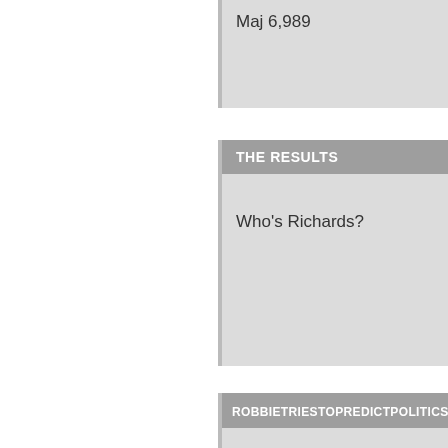Maj 6,989
THE RESULTS
Who's Richards?
ROBBIETRIESTOPREDICTPOLITICS
a very good prospect for UKIP.
D.ALEX
I can see UKIP doing well here. This area political establishment forget about areas UKIP as the only option against a sea of li
BARNABY MARDER